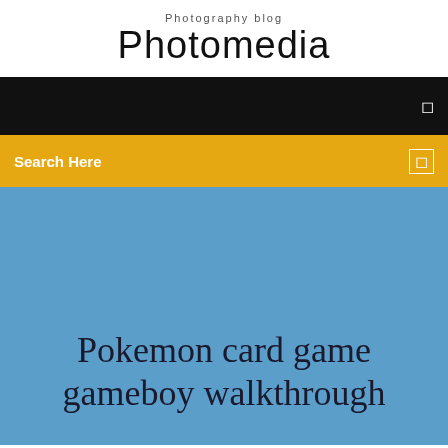Photography blog
Photomedia
[Figure (screenshot): Black navigation bar with a small white icon on the right]
[Figure (screenshot): Yellow/golden search bar with 'Search Here' text on left and a small icon on right]
Pokemon card game gameboy walkthrough